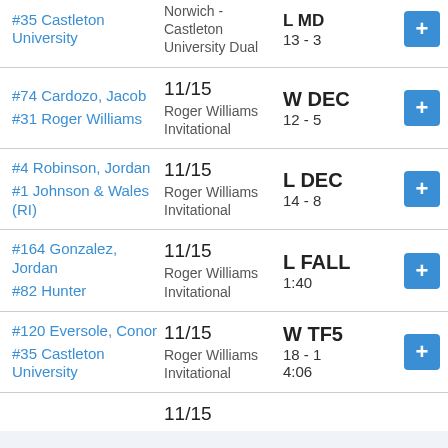| Opponent | Event | Result | Score | Action |
| --- | --- | --- | --- | --- |
| #35 Castleton University | Norwich - Castleton University Dual | L MD | 13 - 3 | + |
| #74 Cardozo, Jacob / #31 Roger Williams | 11/15 Roger Williams Invitational | W DEC | 12 - 5 | + |
| #4 Robinson, Jordan / #1 Johnson & Wales (RI) | 11/15 Roger Williams Invitational | L DEC | 14 - 8 | + |
| #164 Gonzalez, Jordan / #82 Hunter | 11/15 Roger Williams Invitational | L FALL | 1:40 | + |
| #120 Eversole, Conor / #35 Castleton University | 11/15 Roger Williams Invitational | W TF5 | 18 - 1 4:06 | + |
|  | 11/15 |  |  |  |